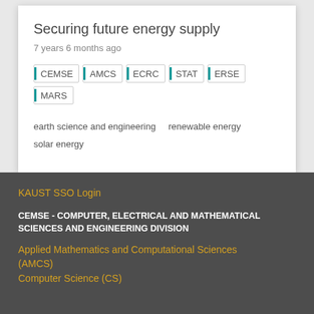Securing future energy supply
7 years 6 months ago
CEMSE | AMCS | ECRC | STAT | ERSE | MARS
earth science and engineering    renewable energy
solar energy
KAUST SSO Login
CEMSE - COMPUTER, ELECTRICAL AND MATHEMATICAL SCIENCES AND ENGINEERING DIVISION
Applied Mathematics and Computational Sciences (AMCS)
Computer Science (CS)